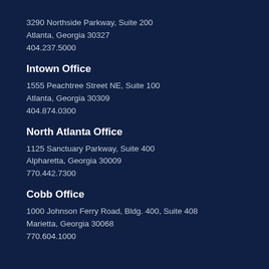3290 Northside Parkway, Suite 200
Atlanta, Georgia 30327
404.237.5000
Intown Office
1555 Peachtree Street NE, Suite 100
Atlanta, Georgia 30309
404.874.0300
North Atlanta Office
1125 Sanctuary Parkway, Suite 400
Alpharetta, Georgia 30009
770.442.7300
Cobb Office
1000 Johnson Ferry Road, Bldg. 400, Suite 408
Marietta, Georgia 30068
770.604.1000